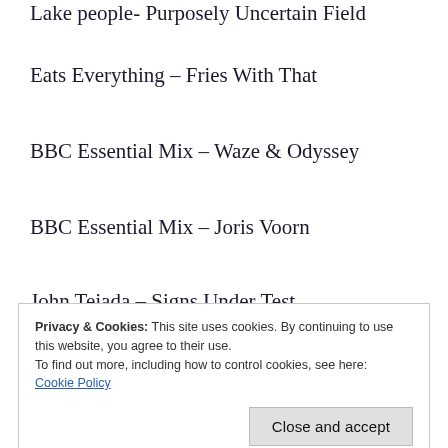Lake people- Purposely Uncertain Field
Eats Everything – Fries With That
BBC Essential Mix – Waze & Odyssey
BBC Essential Mix – Joris Voorn
John Tejada – Signs Under Test
Nang – The Array Vol.5
Privacy & Cookies: This site uses cookies. By continuing to use this website, you agree to their use.
To find out more, including how to control cookies, see here:
Cookie Policy
Zoo Brazil – Songs for Clubs vol.2